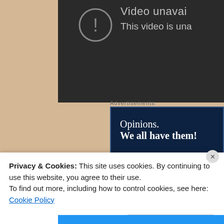[Figure (screenshot): Video unavailable error screen on dark background with circle exclamation icon, showing 'Video unavai...' and 'This video is una...' text in grey]
Advertisements
[Figure (screenshot): Dark navy blue advertisement banner reading 'Opinions. We all have them!']
At the war council, the time and place are set and b...
Privacy & Cookies: This site uses cookies. By continuing to use this website, you agree to their use.
To find out more, including how to control cookies, see here: Cookie Policy
Close and accept